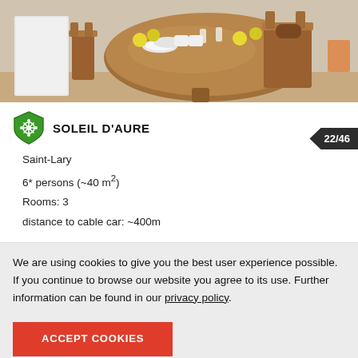[Figure (photo): Interior photo of a wooden dining table with chairs, plates, cups, and yellow fruits/apples, in a bright room.]
SOLEIL D'AURE
Saint-Lary
6* persons (~40 m²)
Rooms: 3
distance to cable car: ~400m
We are using cookies to give you the best user experience possible. If you continue to browse our website you agree to its use. Further information can be found in our privacy policy.
ACCEPT COOKIES